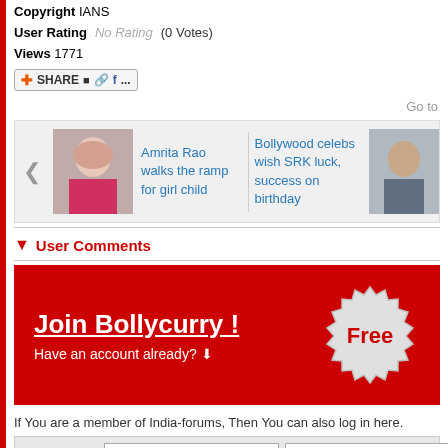Copyright IANS
User Rating   No Rating   (0 Votes)
Views 1771
[Figure (screenshot): Share button with social media icons]
Go to
[Figure (screenshot): Carousel with two items: 'Amrita Rao walks the ramp for girl child' (with photo) and 'Bollywood celebs wish SRK luck, success on birthday' (with photo of SRK)]
User Comments
[Figure (infographic): Join Bollycurry! banner in red with 'Free' badge. Text: 'Join Bollycurry !' and 'Have an account already? (arrow)']
If You are a member of India-forums, Then You can also log in here.
| Quick Login |  |  | Go |
| --- | --- | --- | --- |